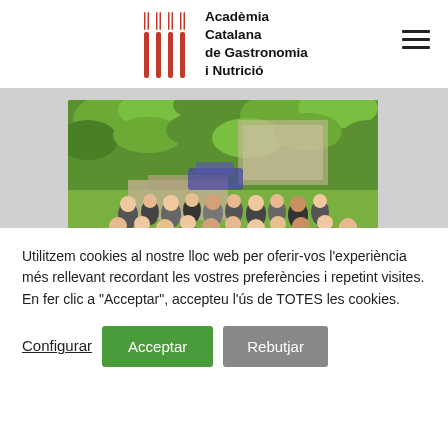[Figure (logo): Academia Catalana de Gastronomia i Nutrició logo with red forks and bold text]
[Figure (photo): Group photo of approximately 25-30 people standing together outdoors in front of a building covered in green ivy and lush vegetation]
Utilitzem cookies al nostre lloc web per oferir-vos l'experiència més rellevant recordant les vostres preferències i repetint visites. En fer clic a "Acceptar", accepteu l'ús de TOTES les cookies.
Configurar
Acceptar
Rebutjar